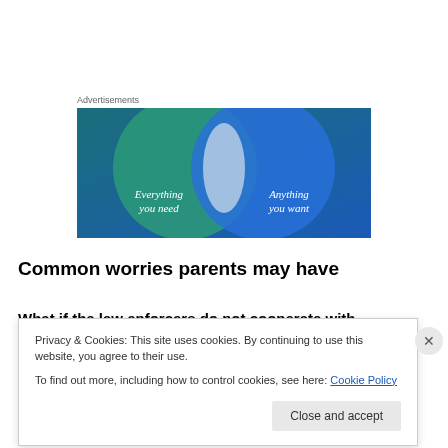Advertisements
[Figure (illustration): Advertisement banner showing a Venn diagram with two overlapping circles on a blue-green gradient background. Left circle (teal/green) contains text 'Everything you need', right circle (blue) contains text 'Anything you want'.]
Common worries parents may have
What if the law enforcers do not cooperate with
Privacy & Cookies: This site uses cookies. By continuing to use this website, you agree to their use.
To find out more, including how to control cookies, see here: Cookie Policy
Close and accept